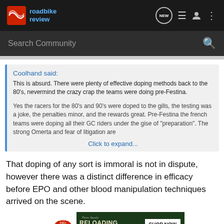roadbike review
Search Community
Coolhand said:
This is absurd. There were plenty of effective doping methods back to the 80's, nevermind the crazy crap the teams were doing pre-Festina.

Yes the racers for the 80's and 90's were doped to the gills, the testing was a joke, the penalties minor, and the rewards great. Pre-Festina the french teams were doping all their GC riders under the gise of "preparation". The strong Omerta and fear of litigation are
Click to expand...
That doping of any sort is immoral is not in dispute, however there was a distinct difference in efficacy before EPO and other blood manipulation techniques arrived on the scene.
[Figure (infographic): Bass Pro Shops advertisement banner: RELOADING SUPPLIES SHOP NOW]
Pre EPO ... ear as